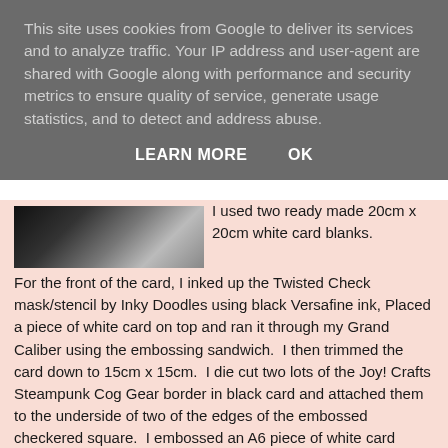This site uses cookies from Google to deliver its services and to analyze traffic. Your IP address and user-agent are shared with Google along with performance and security metrics to ensure quality of service, generate usage statistics, and to detect and address abuse.
LEARN MORE   OK
[Figure (photo): Partial photo of a dark scene, cropped at the top of the content area]
I used two ready made 20cm x 20cm white card blanks.  For the front of the card, I inked up the Twisted Check mask/stencil by Inky Doodles using black Versafine ink, Placed a piece of white card on top and ran it through my Grand Caliber using the embossing sandwich.  I then trimmed the card down to 15cm x 15cm.  I die cut two lots of the Joy! Crafts Steampunk Cog Gear border in black card and attached them to the underside of two of the edges of the embossed checkered square.  I embossed an A6 piece of white card using the cog embossing folder by Docrafts, then rubbed over the raised side using black gilding wax.  Before it was added, I matted it onto plain white card, leaving a very narrow border.  The